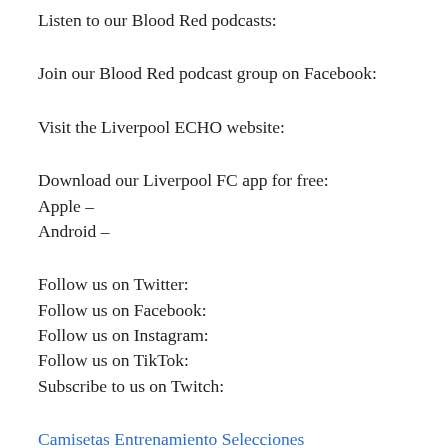Listen to our Blood Red podcasts:
Join our Blood Red podcast group on Facebook:
Visit the Liverpool ECHO website:
Download our Liverpool FC app for free:
Apple –
Android –
Follow us on Twitter:
Follow us on Facebook:
Follow us on Instagram:
Follow us on TikTok:
Subscribe to us on Twitch:
Camisetas Entrenamiento Selecciones